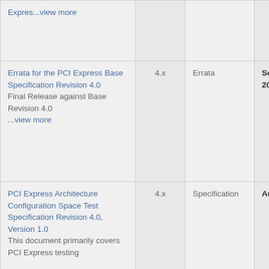| Expres...view more |  |  |  |
| Errata for the PCI Express Base Specification Revision 4.0
Final Release against Base Revision 4.0
...view more | 4.x | Errata | September 2, 2019 |
| PCI Express Architecture Configuration Space Test Specification Revision 4.0, Version 1.0
This document primarily covers PCI Express testing | 4.x | Specification | August 6, 2019 |